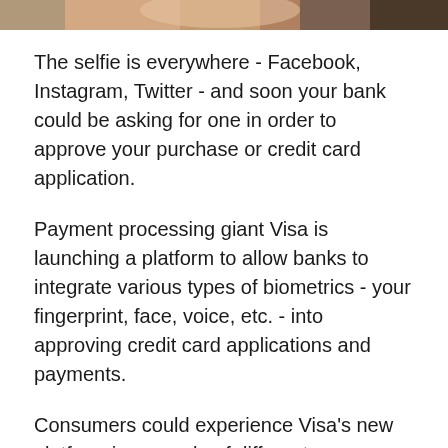[Figure (photo): Partial view of a person taking a selfie, cropped at top of page]
The selfie is everywhere - Facebook, Instagram, Twitter - and soon your bank could be asking for one in order to approve your purchase or credit card application.
Payment processing giant Visa is launching a platform to allow banks to integrate various types of biometrics - your fingerprint, face, voice, etc. - into approving credit card applications and payments.
Consumers could experience Visa's new platform in a couple of different ways.
If a person were to apply for a credit card application on their smartphone, the bank app could ask the applicant to take a selfie and then take a picture of a driver's licence or passport. The technology will then compare the photos for facial similarities as well as check the validity of the driver's licence, all happening within seconds. The selfie could also play a role in an online purchase. With the wider acceptance of chip cards in the last couple of years, in-person fraud at retailers is on the decline. But